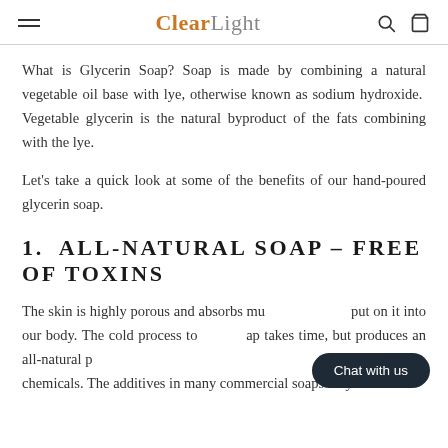ClearLight
What is Glycerin Soap? Soap is made by combining a natural vegetable oil base with lye, otherwise known as sodium hydroxide.  Vegetable glycerin is the natural byproduct of the fats combining with the lye.
Let's take a quick look at some of the benefits of our hand-poured glycerin soap.
1.  ALL-NATURAL SOAP – FREE OF TOXINS
The skin is highly porous and absorbs much of what we put on it into our body. The cold process to make soap takes time, but produces an all-natural product free of chemicals. The additives in many commercial soaps may